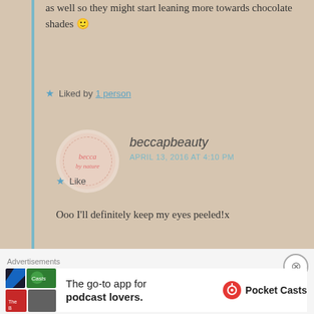as well so they might start leaning more towards chocolate shades 🙂
★ Liked by 1 person
[Figure (illustration): Circular avatar for beccapbeauty blog showing 'becca by nature' text in pink cursive on a beige/pink background with dotted border]
beccapbeauty
APRIL 13, 2016 AT 4:10 PM
Ooo I'll definitely keep my eyes peeled!x
★ Like
Advertisements
[Figure (screenshot): Pocket Casts advertisement banner: 'The go-to app for podcast lovers.' with colorful app icon tiles and Pocket Casts logo]